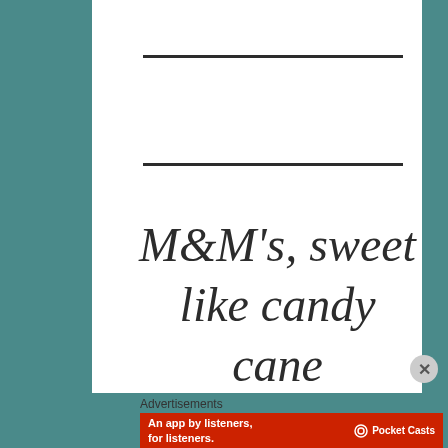M&M's, sweet like candy cane
Advertisements
[Figure (screenshot): Pocket Casts advertisement banner: red background with text 'An app by listeners, for listeners.' and Pocket Casts logo with phone graphic]